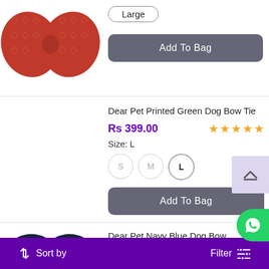[Figure (photo): Red patterned dog bow tie, partially visible at top of page]
Large
Add To Bag
Dear Pet Printed Green Dog Bow Tie
Rs 399.00
Size: L
S  M  L
Add To Bag
Dear Pet Navy Blue Dog Bow (Detachable)
Rs 359.00
Size: Standard
[Figure (photo): Navy blue dog bow tie, partially visible at bottom]
Sort by   Filter